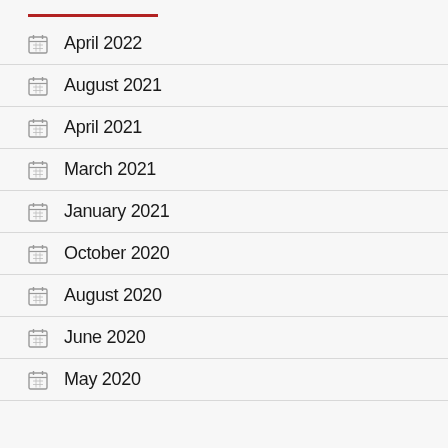April 2022
August 2021
April 2021
March 2021
January 2021
October 2020
August 2020
June 2020
May 2020